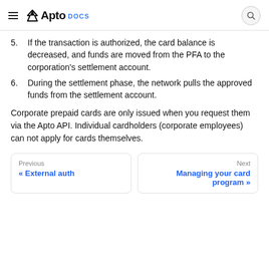≡ ✦Apto DOCS [search]
5. If the transaction is authorized, the card balance is decreased, and funds are moved from the PFA to the corporation's settlement account.
6. During the settlement phase, the network pulls the approved funds from the settlement account.
Corporate prepaid cards are only issued when you request them via the Apto API. Individual cardholders (corporate employees) can not apply for cards themselves.
Previous « External auth | Next Managing your card program »